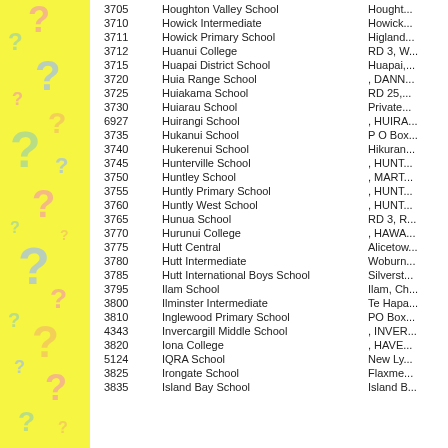[Figure (illustration): Yellow sidebar with colorful question marks scattered in various sizes and colors (pink, green, blue, orange)]
| Code | School Name | Address |
| --- | --- | --- |
| 3705 | Houghton Valley School | Hought... |
| 3710 | Howick Intermediate | Howick... |
| 3711 | Howick Primary School | Higland... |
| 3712 | Huanui College | RD 3, W... |
| 3715 | Huapai District School | Huapai,... |
| 3720 | Huia Range School | , DANN... |
| 3725 | Huiakama School | RD 25,... |
| 3730 | Huiarau School | Private... |
| 6927 | Huirangi School | , HUIRA... |
| 3735 | Hukanui School | P O Bo... |
| 3740 | Hukerenui School | Hikuran... |
| 3745 | Hunterville School | , HUNT... |
| 3750 | Huntley School | , MART... |
| 3755 | Huntly Primary School | , HUNT... |
| 3760 | Huntly West School | , HUNT... |
| 3765 | Hunua School | RD 3, R... |
| 3770 | Hurunui College | , HAWA... |
| 3775 | Hutt Central | Alicetow... |
| 3780 | Hutt Intermediate | Woburn... |
| 3785 | Hutt International Boys School | Silverst... |
| 3795 | Ilam School | Ilam, Ch... |
| 3800 | Ilminster Intermediate | Te Hapa... |
| 3810 | Inglewood Primary School | PO Box... |
| 4343 | Invercargill Middle School | , INVER... |
| 3820 | Iona College | , HAVE... |
| 5124 | IQRA School | New Ly... |
| 3825 | Irongate School | Flaxme... |
| 3835 | Island Bay School | Island B... |